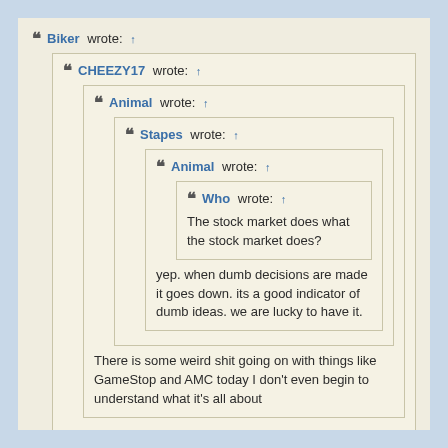Biker wrote: ↑
CHEEZY17 wrote: ↑
Animal wrote: ↑
Stapes wrote: ↑
Animal wrote: ↑
Who wrote: ↑
The stock market does what the stock market does?
yep. when dumb decisions are made it goes down. its a good indicator of dumb ideas. we are lucky to have it.
There is some weird shit going on with things like GameStop and AMC today I don't even begin to understand what it's all about